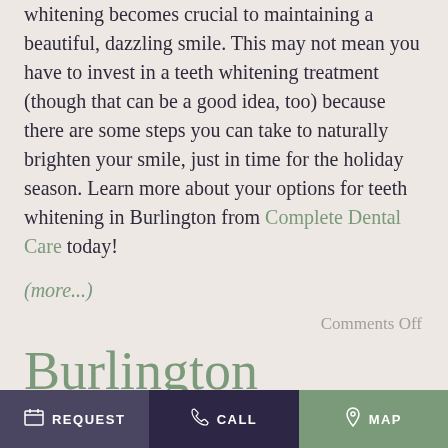whitening becomes crucial to maintaining a beautiful, dazzling smile. This may not mean you have to invest in a teeth whitening treatment (though that can be a good idea, too) because there are some steps you can take to naturally brighten your smile, just in time for the holiday season. Learn more about your options for teeth whitening in Burlington from Complete Dental Care today!
(more…)
Comments Off
Burlington Dentist Has 5 Tips to Prevent Gum
REQUEST   CALL   MAP